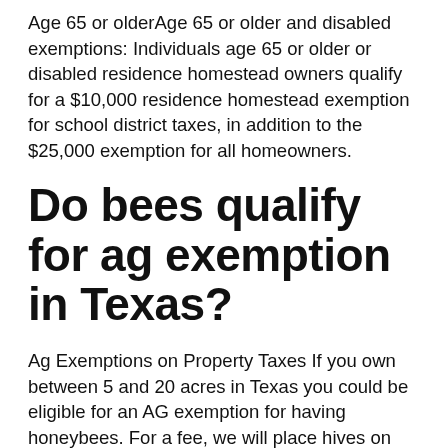Age 65 or olderAge 65 or older and disabled exemptions: Individuals age 65 or older or disabled residence homestead owners qualify for a $10,000 residence homestead exemption for school district taxes, in addition to the $25,000 exemption for all homeowners.
Do bees qualify for ag exemption in Texas?
Ag Exemptions on Property Taxes If you own between 5 and 20 acres in Texas you could be eligible for an AG exemption for having honeybees. For a fee, we will place hives on your property, maintain, and manage the colonies.